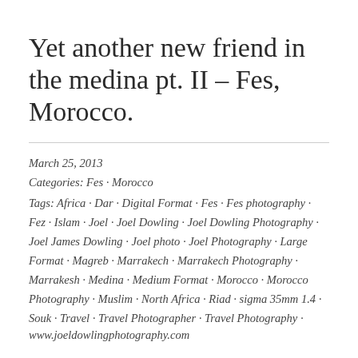Yet another new friend in the medina pt. II – Fes, Morocco.
March 25, 2013
Categories: Fes · Morocco
Tags: Africa · Dar · Digital Format · Fes · Fes photography · Fez · Islam · Joel · Joel Dowling · Joel Dowling Photography · Joel James Dowling · Joel photo · Joel Photography · Large Format · Magreb · Marrakech · Marrakech Photography · Marrakesh · Medina · Medium Format · Morocco · Morocco Photography · Muslim · North Africa · Riad · sigma 35mm 1.4 · Souk · Travel · Travel Photographer · Travel Photography ·
www.joeldowlingphotography.com